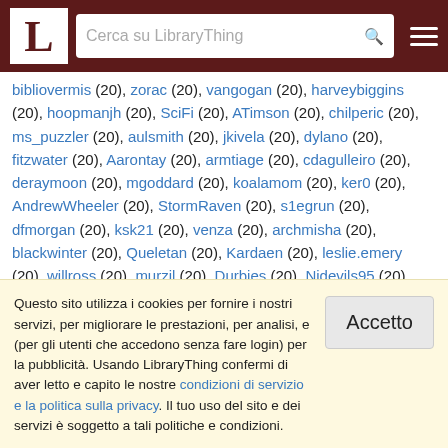LibraryThing — Cerca su LibraryThing
bibliovermis (20), zorac (20), vangogan (20), harveybiggins (20), hoopmanjh (20), SciFi (20), ATimson (20), chilperic (20), ms_puzzler (20), aulsmith (20), jkivela (20), dylano (20), fitzwater (20), Aarontay (20), armtiage (20), cdagulleiro (20), deraymoon (20), mgoddard (20), koalamom (20), ker0 (20), AndrewWheeler (20), StormRaven (20), s1egrun (20), dfmorgan (20), ksk21 (20), venza (20), archmisha (20), blackwinter (20), Queletan (20), Kardaen (20), leslie.emery (20), willross (20), murzil (20), Durbies (20), Njdevils95 (20), ghiso (20), Brazen (20), scbunker (20), Traveller1 (20), majleavy (20), jfcaron (20), Echinopsis (20), WildPikachu (20), JodyMaple (20), fueramiseria (20), parsec-sff (20), wolfsbruder (20), daelyte (20)
Questo sito utilizza i cookies per fornire i nostri servizi, per migliorare le prestazioni, per analisi, e (per gli utenti che accedono senza fare login) per la pubblicità. Usando LibraryThing confermi di aver letto e capito le nostre condizioni di servizio e la politica sulla privacy. Il tuo uso del sito e dei servizi è soggetto a tali politiche e condizioni.